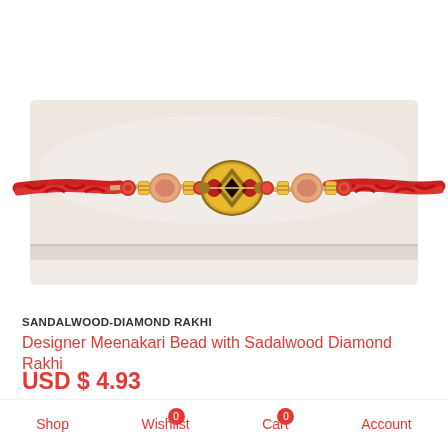[Figure (photo): A decorative Rakhi bracelet with gold-toned meenakari bead centerpiece, sandalwood beads, and red thread, displayed on a white cushion/box]
SANDALWOOD-DIAMOND RAKHI
Designer Meenakari Bead with Sadalwood Diamond Rakhi
USD $ 4.93
[Figure (screenshot): Bottom banner section with WhatsApp chat button (green circle), decorative mandala graphic in center, and shopping bag icon with heart on the right]
Shop   Wishlist 0   Cart 0   Account